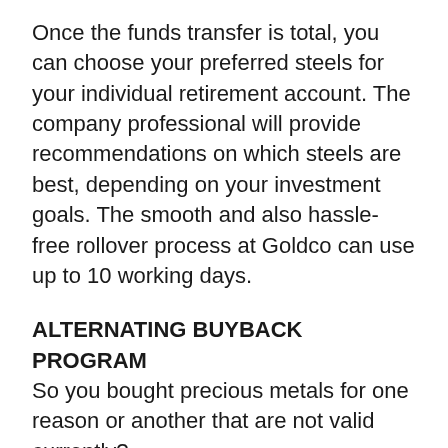Once the funds transfer is total, you can choose your preferred steels for your individual retirement account. The company professional will provide recommendations on which steels are best, depending on your investment goals. The smooth and also hassle-free rollover process at Goldco can use up to 10 working days.
ALTERNATING BUYBACK PROGRAM
So you bought precious metals for one reason or another that are not valid currently?
Sell your rare-earth element, as well as Goldco will certainly repurchase it. And the best component is you will surely get a much better price right here.